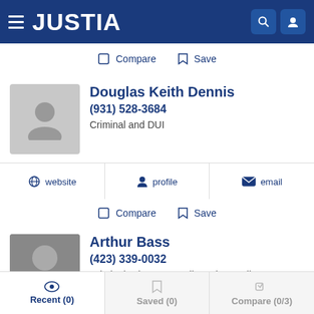JUSTIA
Compare  Save
Douglas Keith Dennis
(931) 528-3684
Criminal and DUI
website  profile  email
Compare  Save
Arthur Bass
(423) 339-0032
Criminal, Divorce, Family and Juvenile
Recent (0)  Saved (0)  Compare (0/3)